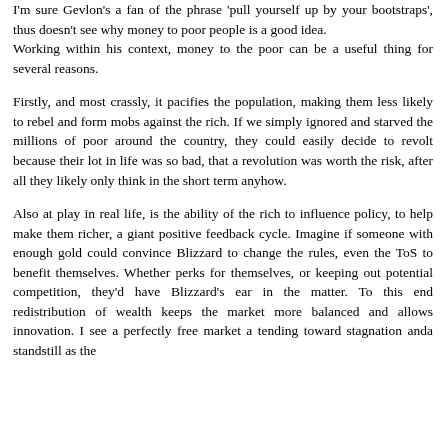I'm sure Gevlon's a fan of the phrase 'pull yourself up by your bootstraps', thus doesn't see why money to poor people is a good idea. Working within his context, money to the poor can be a useful thing for several reasons.
Firstly, and most crassly, it pacifies the population, making them less likely to rebel and form mobs against the rich. If we simply ignored and starved the millions of poor around the country, they could easily decide to revolt because their lot in life was so bad, that a revolution was worth the risk, after all they likely only think in the short term anyhow.
Also at play in real life, is the ability of the rich to influence policy, to help make them richer, a giant positive feedback cycle. Imagine if someone with enough gold could convince Blizzard to change the rules, even the ToS to benefit themselves. Whether perks for themselves, or keeping out potential competition, they'd have Blizzard's ear in the matter. To this end redistribution of wealth keeps the market more balanced and allows innovation. I see a perfectly free market a tending toward stagnation anda standstill as the